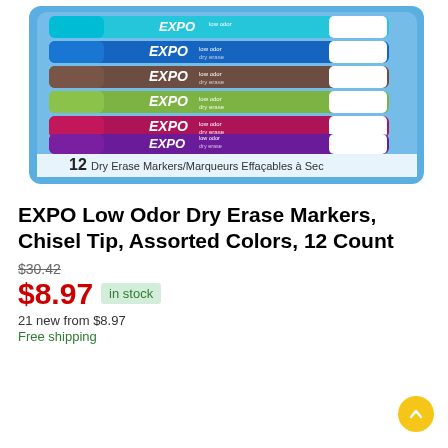[Figure (photo): Package of EXPO Low Odor Dry Erase Markers, Chisel Tip, Assorted Colors, 12 Count. Shows colorful markers in teal, blue, brown, green, magenta, purple arranged in a blue plastic tray. Label reads '12 Dry Erase Markers/Marqueurs Effaçables à Sec']
EXPO Low Odor Dry Erase Markers, Chisel Tip, Assorted Colors, 12 Count
$30.42
$8.97 in stock
21 new from $8.97
Free shipping